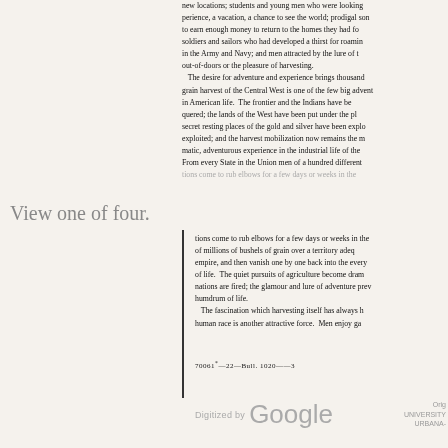new locations; students and young men who were looking for experience, a vacation, a chance to see the world; prodigal sons trying to earn enough money to return to the homes they had forsaken; soldiers and sailors who had developed a thirst for roaming while in the Army and Navy; and men attracted by the lure of the out-of-doors or the pleasure of harvesting. The desire for adventure and experience brings thousands. The grain harvest of the Central West is one of the few big adventures in American life. The frontier and the Indians have been conquered; the lands of the West have been put under the plow; secret resting places of the gold and silver have been explored and exploited; and the harvest mobilization now remains the most dramatic, adventurous experience in the industrial life of the nation. From every State in the Union men of a hundred different occupations come to rub elbows for a few days or weeks in the...
View one of four.
tions come to rub elbows for a few days or weeks in the movement of millions of bushels of grain over a territory adequate for an empire, and then vanish one by one back into the everyday round of life. The quiet pursuits of agriculture become dramatic; imaginations are fired; the glamour and lure of adventure prevail over the humdrum of life. The fascination which harvesting itself has always had for the human race is another attractive force. Men enjoygar...
70061*—22—Bull. 1020——3
Digitized by Google   Orig UNIVERSITY URBANA-